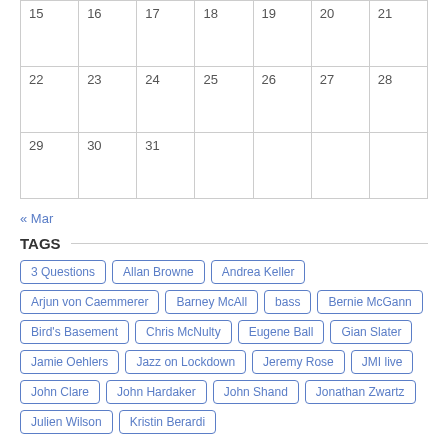| 15 | 16 | 17 | 18 | 19 | 20 | 21 |
| 22 | 23 | 24 | 25 | 26 | 27 | 28 |
| 29 | 30 | 31 |  |  |  |  |
« Mar
TAGS
3 Questions
Allan Browne
Andrea Keller
Arjun von Caemmerer
Barney McAll
bass
Bernie McGann
Bird's Basement
Chris McNulty
Eugene Ball
Gian Slater
Jamie Oehlers
Jazz on Lockdown
Jeremy Rose
JMI live
John Clare
John Hardaker
John Shand
Jonathan Zwartz
Julien Wilson
Kristin Berardi